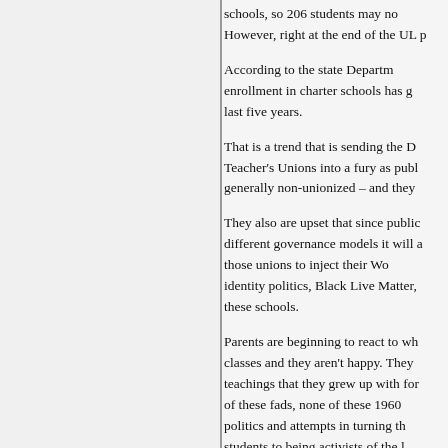schools, so 206 students may no... However, right at the end of the UL p...
According to the state Departm... enrollment in charter schools has g... last five years.
That is a trend that is sending the D... Teacher's Unions into a fury as publ... generally non-unionized – and they...
They also are upset that since public... different governance models it will a... those unions to inject their Wo... identity politics, Black Live Matter,... these schools.
Parents are beginning to react to wh... classes and they aren't happy. They... teachings that they grew up with for... of these fads, none of these 1960... politics and attempts in turning th... students to being activists of the l... basics taught and taught well.